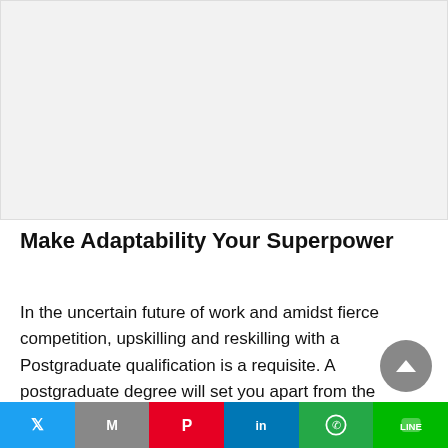[Figure (photo): Large image placeholder area at the top of the article page, light gray background.]
Make Adaptability Your Superpower
In the uncertain future of work and amidst fierce competition, upskilling and reskilling with a Postgraduate qualification is a requisite. A postgraduate degree will set you apart from the
Twitter | Mail | Pinterest | LinkedIn | WhatsApp | LINE